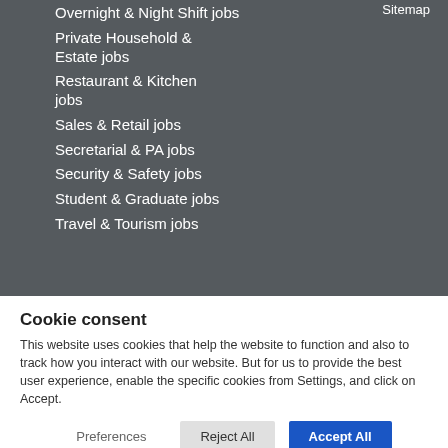Sitemap
Overnight & Night Shift jobs
Private Household & Estate jobs
Restaurant & Kitchen jobs
Sales & Retail jobs
Secretarial & PA jobs
Security & Safety jobs
Student & Graduate jobs
Travel & Tourism jobs
Cookie consent
This website uses cookies that help the website to function and also to track how you interact with our website. But for us to provide the best user experience, enable the specific cookies from Settings, and click on Accept.